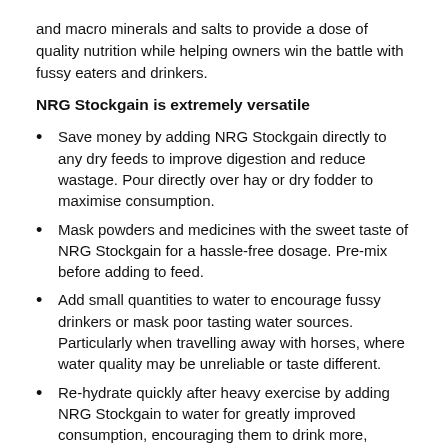and macro minerals and salts to provide a dose of quality nutrition while helping owners win the battle with fussy eaters and drinkers.
NRG Stockgain is extremely versatile
Save money by adding NRG Stockgain directly to any dry feeds to improve digestion and reduce wastage. Pour directly over hay or dry fodder to maximise consumption.
Mask powders and medicines with the sweet taste of NRG Stockgain for a hassle-free dosage. Pre-mix before adding to feed.
Add small quantities to water to encourage fussy drinkers or mask poor tasting water sources. Particularly when travelling away with horses, where water quality may be unreliable or taste different.
Re-hydrate quickly after heavy exercise by adding NRG Stockgain to water for greatly improved consumption, encouraging them to drink more, improving quicker cell re-hydration and kidney health.